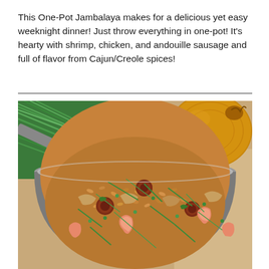This One-Pot Jambalaya makes for a delicious yet easy weeknight dinner! Just throw everything in one-pot! It's hearty with shrimp, chicken, and andouille sausage and full of flavor from Cajun/Creole spices!
[Figure (photo): A large pot filled with jambalaya — rice, shrimp, chicken, and andouille sausage, garnished with chopped green onions and herbs. Surrounding the pot are fresh ingredients: green onions, a tomato, and a large onion.]